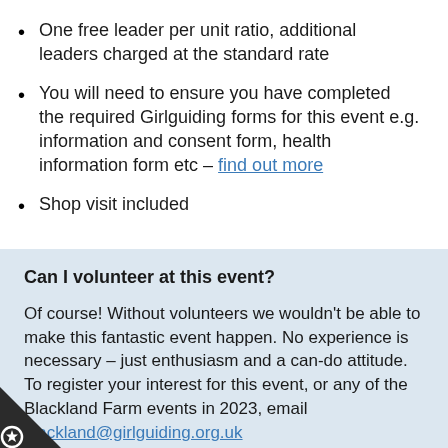One free leader per unit ratio, additional leaders charged at the standard rate
You will need to ensure you have completed the required Girlguiding forms for this event e.g. information and consent form, health information form etc – find out more
Shop visit included
Can I volunteer at this event?
Of course! Without volunteers we wouldn't be able to make this fantastic event happen. No experience is necessary – just enthusiasm and a can-do attitude. To register your interest for this event, or any of the Blackland Farm events in 2023, email blackland@girlguiding.org.uk